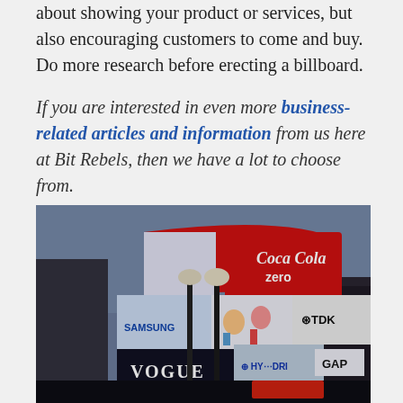about showing your product or services, but also encouraging customers to come and buy. Do more research before erecting a billboard.
If you are interested in even more business-related articles and information from us here at Bit Rebels, then we have a lot to choose from.
[Figure (photo): Photo of Piccadilly Circus in London at dusk showing large illuminated advertising billboards including Coca-Cola Zero, TDK, Samsung, Hyundai, Vogue, and other brand advertisements on curved building facades with street lamps in the foreground.]